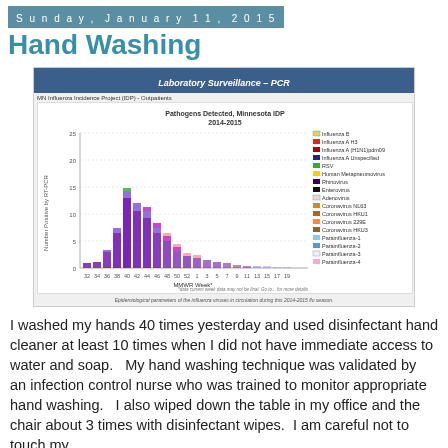Sunday, January 11, 2015
Hand Washing
[Figure (stacked-bar-chart): Stacked bar chart showing Pathogens Detected, Minnesota IDP 2014-2015, from MN Influenza Incidence Project (IDP) - Outpatients. X-axis shows MMWR Week, Y-axis shows Number Positive by RT-PCR. Legend includes Influenza B, Influenza A H3, Influenza A (H1N1)pdm09, Influenza A Unspecified, RSV, Human Metapneumovirus, Rhinovirus, Enterovirus, Adenovirus, Coronavirus NL63, Coronavirus HKU1, Coronavirus 229E, Coronavirus HKU3, Parainfluenza-1, Parainfluenza-2, Parainfluenza-3, Parainfluenza-4.]
Epidemiological parameters of the influenza viruses in circulation during this 2014-2015 flu season.
I washed my hands 40 times yesterday and used disinfectant hand cleaner at least 10 times when I did not have immediate access to water and soap.   My hand washing technique was validated by  an infection control nurse who was trained to monitor appropriate hand washing.   I also wiped down the table in my office and the chair about 3 times with disinfectant wipes.  I am careful not to touch my